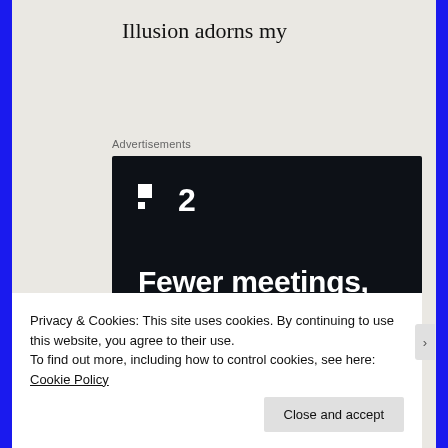Illusion adorns my
Advertisements
[Figure (screenshot): Advertisement for a project management tool (likely Plan.io or similar). Dark navy background with white logo showing a small square icon and the number 2. Large bold white text reads 'Fewer meetings, more work.' with a rounded button labeled 'Get started for free'.]
Privacy & Cookies: This site uses cookies. By continuing to use this website, you agree to their use.
To find out more, including how to control cookies, see here: Cookie Policy